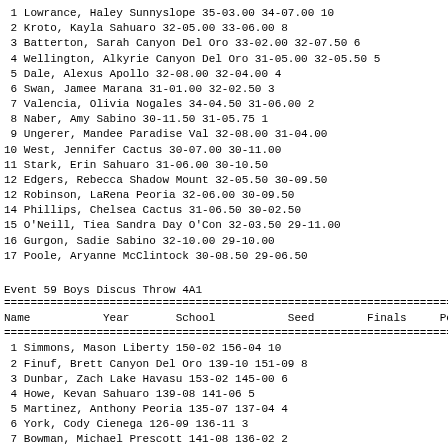1 Lowrance, Haley Sunnyslope 35-03.00 34-07.00 10
2 Kroto, Kayla Sahuaro 32-05.00 33-06.00 8
3 Batterton, Sarah Canyon Del Oro 33-02.00 32-07.50 6
4 Wellington, Alkyrie Canyon Del Oro 31-05.00 32-05.50 5
5 Dale, Alexus Apollo 32-08.00 32-04.00 4
6 Swan, Jamee Marana 31-01.00 32-02.50 3
7 Valencia, Olivia Nogales 34-04.50 31-06.00 2
8 Naber, Amy Sabino 30-11.50 31-05.75 1
9 Ungerer, Mandee Paradise Val 32-08.00 31-04.00
10 West, Jennifer Cactus 30-07.00 30-11.00
11 Stark, Erin Sahuaro 31-06.00 30-10.50
12 Edgers, Rebecca Shadow Mount 32-05.50 30-09.50
12 Robinson, LaRena Peoria 32-06.00 30-09.50
14 Phillips, Chelsea Cactus 31-06.50 30-02.50
15 O'Neill, Tiea Sandra Day O'Con 32-03.50 29-11.00
16 Gurgon, Sadie Sabino 32-10.00 29-10.00
17 Poole, Aryanne McClintock 30-08.50 29-06.50
Event 59 Boys Discus Throw 4A1
| Name | Year | School | Seed | Finals | Po |
| --- | --- | --- | --- | --- | --- |
| 1 Simmons, Mason Liberty |  |  | 150-02 | 156-04 | 10 |
| 2 Finuf, Brett Canyon Del Oro |  |  | 139-10 | 151-09 | 8 |
| 3 Dunbar, Zach Lake Havasu |  |  | 153-02 | 145-00 | 6 |
| 4 Howe, Kevan Sahuaro |  |  | 139-08 | 141-06 | 5 |
| 5 Martinez, Anthony Peoria |  |  | 135-07 | 137-04 | 4 |
| 6 York, Cody Cienega |  |  | 126-09 | 136-11 | 3 |
| 7 Bowman, Michael Prescott |  |  | 141-08 | 136-02 | 2 |
| 8 Kocsis, DeAndre Lake Havasu |  |  | 139-07 | 135-04 | 1 |
| 9 Berner, Trevor Apache Junct |  |  | 149-00 | J135-04 |  |
| 10 Susa, Matt Marana |  |  | 122-04 | 135-00 |  |
| 11 Walker, Kyle Sabino |  |  | 132-08 | 134-00 |  |
| 12 Rojas, Jose Nogales |  |  | 140-04 | 133-02 |  |
| 13 Mendoza, Edward Indenendence |  |  | 141-09 | 133-00 |  |